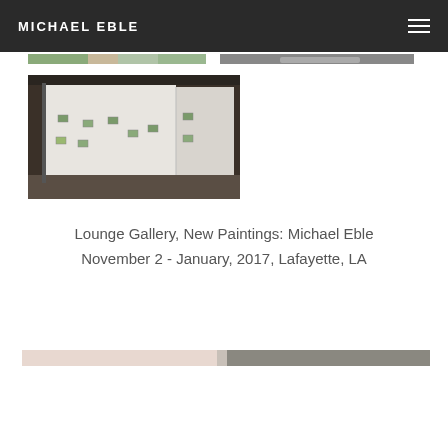MICHAEL EBLE
[Figure (photo): Partial view of two paintings/artworks at the top of the page, cropped]
[Figure (photo): Interior gallery photograph showing white walls with small paintings hung on them, concrete floor, industrial space — Lounge Gallery installation view]
Lounge Gallery, New Paintings: Michael Eble
November 2 - January, 2017, Lafayette, LA
[Figure (photo): Partial bottom strip of another artwork or gallery image, mostly cropped]